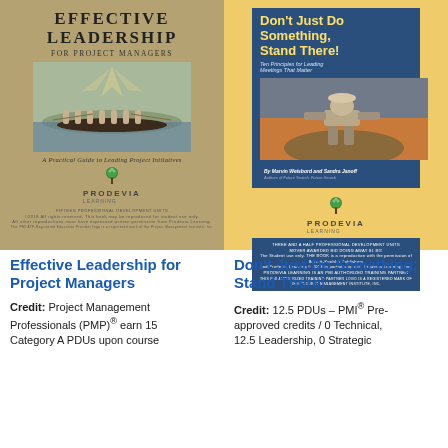[Figure (illustration): Book cover: Effective Leadership for Project Managers, Prodevia Learning, with rowing team image]
[Figure (illustration): Book cover: Don't Just Do Something, Stand There! by Marvin Weisbord and Sandra Janoff, Prodevia Learning, with inukshuk image]
Effective Leadership for Project Managers
Credit: Project Management Professionals (PMP)® earn 15 Category A PDUs upon course
Don't Just Do Something; Stand There!
Credit: 12.5 PDUs – PMI® Pre-approved credits / 0 Technical, 12.5 Leadership, 0 Strategic